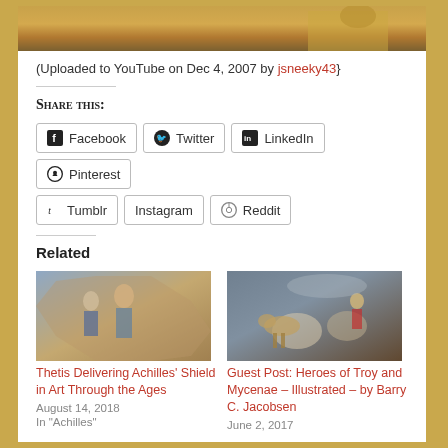[Figure (photo): Top portion of a golden/tan colored image, partially cropped]
(Uploaded to YouTube on Dec 4, 2007 by jsneeky43}
Share this:
Facebook   Twitter   LinkedIn   Pinterest   Tumblr   Instagram   Reddit
Related
[Figure (photo): Classical painting of Thetis delivering Achilles' shield - figures in a fresco-like octagonal setting]
Thetis Delivering Achilles' Shield in Art Through the Ages
August 14, 2018
In "Achilles"
[Figure (photo): Classical painting of a battle scene with horses and warriors at Troy]
Guest Post: Heroes of Troy and Mycenae – Illustrated – by Barry C. Jacobsen
June 2, 2017